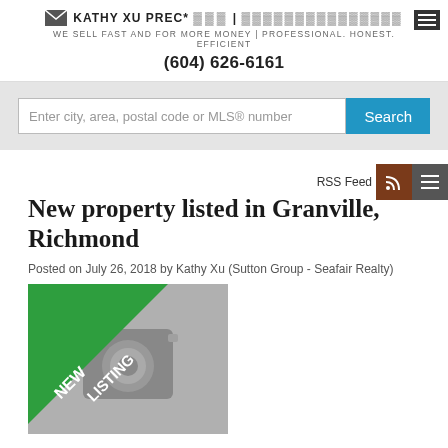KATHY XU PREC* | WE SELL FAST AND FOR MORE MONEY | PROFESSIONAL. HONEST. EFFICIENT (604) 626-6161
[Figure (screenshot): Search bar with placeholder text 'Enter city, area, postal code or MLS® number' and a blue Search button]
RSS Feed
New property listed in Granville, Richmond
Posted on July 26, 2018 by Kathy Xu (Sutton Group - Seafair Realty)
[Figure (photo): Camera placeholder image with a green 'NEW LISTING' diagonal badge in the top-left corner]